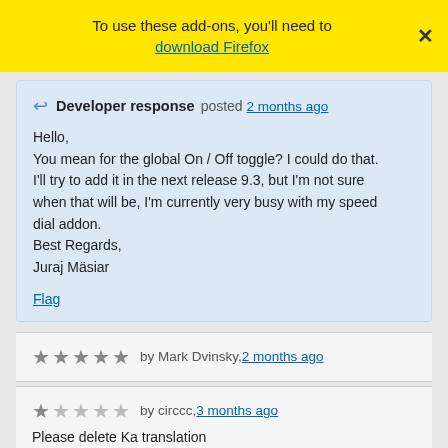To use these add-ons, you'll need to download Firefox
Developer response posted 2 months ago
Hello,
You mean for the global On / Off toggle? I could do that. I'll try to add it in the next release 9.3, but I'm not sure when that will be, I'm currently very busy with my speed dial addon.
Best Regards,
Juraj Mäsiar
Flag
★★★★★ by Mark Dvinsky, 2 months ago
★ by circcc, 3 months ago
Please delete Ka translation